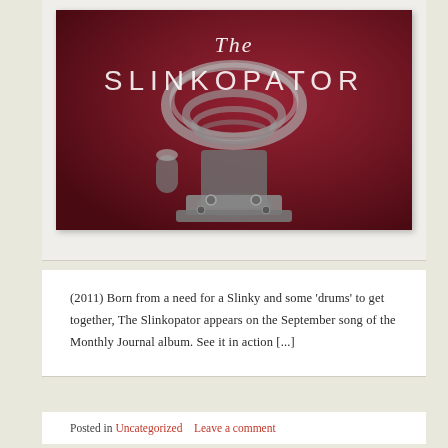[Figure (photo): Photo of a mechanical device (Slinkopator) with metallic/chrome components against a deep red background, with text overlay reading 'The SLINKOPATOR' in white decorative font]
(2011) Born from a need for a Slinky and some ‘drums’ to get together, The Slinkopator appears on the September song of the Monthly Journal album. See it in action [...]
Posted in Uncategorized     Leave a comment